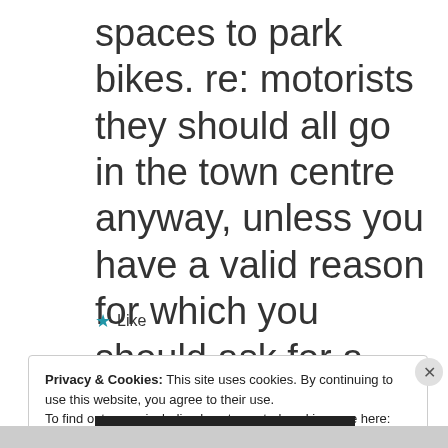spaces to park bikes. re: motorists they should all go in the town centre anyway, unless you have a valid reason for which you should ask for a permit.
★ Like
Privacy & Cookies: This site uses cookies. By continuing to use this website, you agree to their use.
To find out more, including how to control cookies, see here: Cookie Policy
Close and accept